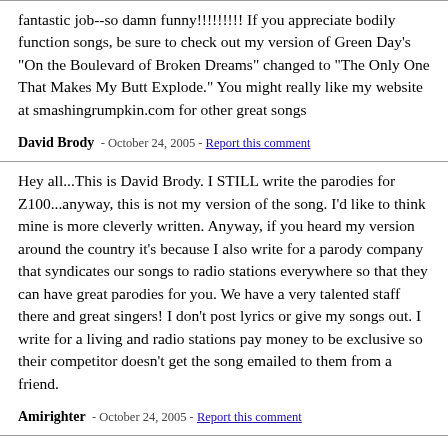fantastic job--so damn funny!!!!!!!!! If you appreciate bodily function songs, be sure to check out my version of Green Day's "On the Boulevard of Broken Dreams" changed to "The Only One That Makes My Butt Explode." You might really like my website at smashingrumpkin.com for other great songs
David Brody - October 24, 2005 - Report this comment
Hey all...This is David Brody. I STILL write the parodies for Z100...anyway, this is not my version of the song. I'd like to think mine is more cleverly written. Anyway, if you heard my version around the country it's because I also write for a parody company that syndicates our songs to radio stations everywhere so that they can have great parodies for you. We have a very talented staff there and great singers! I don't post lyrics or give my songs out. I write for a living and radio stations pay money to be exclusive so their competitor doesn't get the song emailed to them from a friend.
Amirighter - October 24, 2005 - Report this comment
Dave: Perhaps if you DID post your lyrics we could objectively